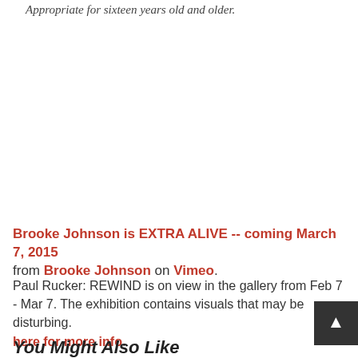Appropriate for sixteen years old and older.
Brooke Johnson is EXTRA ALIVE -- coming March 7, 2015 from Brooke Johnson on Vimeo.
Paul Rucker: REWIND is on view in the gallery from Feb 7 - Mar 7. The exhibition contains visuals that may be disturbing. here for more info.
You Might Also Like